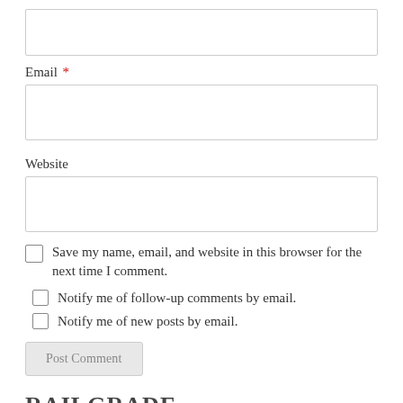[Figure (screenshot): Empty text input field at the top of the form]
Email *
[Figure (screenshot): Empty email input field]
Website
[Figure (screenshot): Empty website input field]
Save my name, email, and website in this browser for the next time I comment.
Notify me of follow-up comments by email.
Notify me of new posts by email.
Post Comment
RAILGRADE